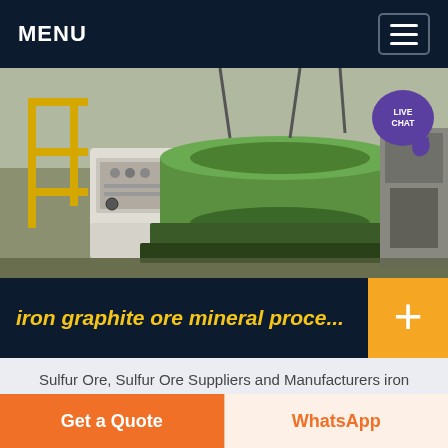MENU
[Figure (photo): Industrial machinery - large green cylindrical mineral processing equipment in a factory setting]
iron graphite ore mineral proce...
Sulfur Ore, Sulfur Ore Suppliers and Manufacturers iron graphite ore mineral processing equipment China Wholesale All Mesh Raw Material Iron Pyrite Ore of Pyrite China Factory Supplier Pyrite Ore For Cutting steel manufacturing: New Accurate Powder
Get a Quote | WhatsApp